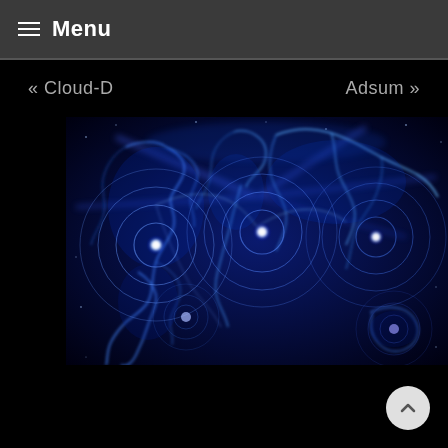Menu
« Cloud-D    Adsum »
[Figure (map): Glowing blue world map with concentric circle overlays on major continents, representing global network connectivity, on a black background.]